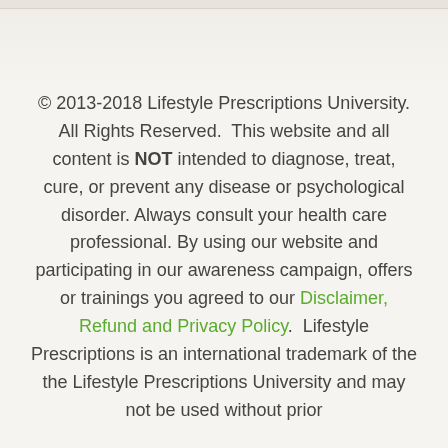© 2013-2018 Lifestyle Prescriptions University. All Rights Reserved.  This website and all content is NOT intended to diagnose, treat, cure, or prevent any disease or psychological disorder. Always consult your health care professional. By using our website and participating in our awareness campaign, offers or trainings you agreed to our Disclaimer, Refund and Privacy Policy.  Lifestyle Prescriptions is an international trademark of the the Lifestyle Prescriptions University and may not be used without prior